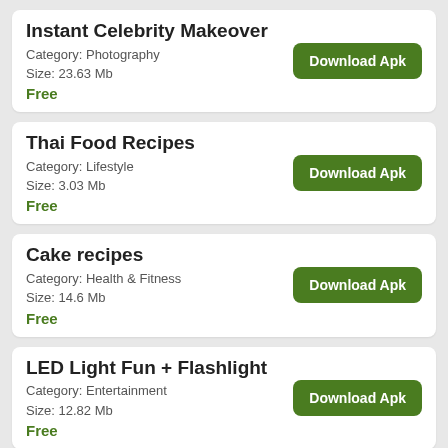Instant Celebrity Makeover
Category: Photography
Size: 23.63 Mb
Free
Thai Food Recipes
Category: Lifestyle
Size: 3.03 Mb
Free
Cake recipes
Category: Health & Fitness
Size: 14.6 Mb
Free
LED Light Fun + Flashlight
Category: Entertainment
Size: 12.82 Mb
Free
Live HD Wallpapers
Category: Personalization
Size: 6.05 Mb
Free